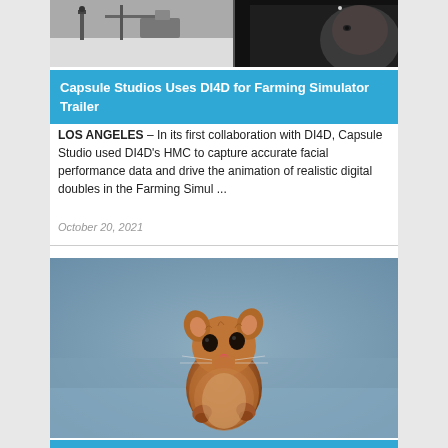[Figure (photo): Black and white photo showing film/photo equipment and a person's face partially visible on the right side]
Capsule Studios Uses DI4D for Farming Simulator Trailer
LOS ANGELES – In its first collaboration with DI4D, Capsule Studio used DI4D's HMC to capture accurate facial performance data and drive the animation of realistic digital doubles in the Farming Simul ...
October 20, 2021
[Figure (photo): A small brown mouse or gerbil standing upright on a light blue background, looking at the camera with large dark eyes and small pink nose]